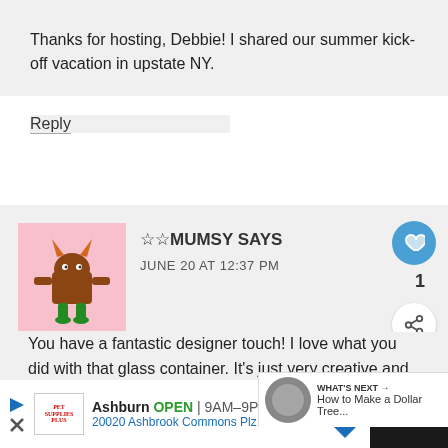Thanks for hosting, Debbie! I shared our summer kick-off vacation in upstate NY.
Reply
☆☆MUMSY SAYS
JUNE 20 AT 12:37 PM
You have a fantastic designer touch! I love what you did with that glass container. It's just very creative and beautiful!
Ashburn OPEN | 9AM–9PM
20020 Ashbrook Commons Plz ...